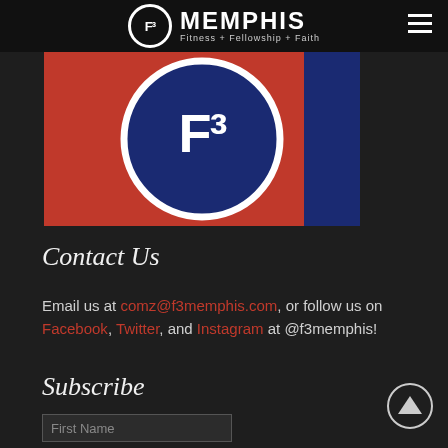F3 MEMPHIS Fitness + Fellowship + Faith
[Figure (logo): F3 Memphis logo on red and blue background — large circular F3 emblem in blue and white centered on a red background with blue side panel]
Contact Us
Email us at comz@f3memphis.com, or follow us on Facebook, Twitter, and Instagram at @f3memphis!
Subscribe